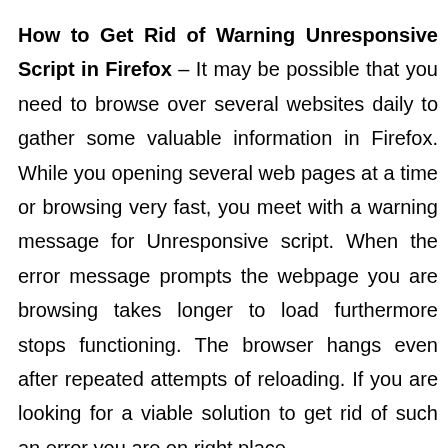How to Get Rid of Warning Unresponsive Script in Firefox – It may be possible that you need to browse over several websites daily to gather some valuable information in Firefox. While you opening several web pages at a time or browsing very fast, you meet with a warning message for Unresponsive script. When the error message prompts the webpage you are browsing takes longer to load furthermore stops functioning. The browser hangs even after repeated attempts of reloading. If you are looking for a viable solution to get rid of such an error you are on right place.